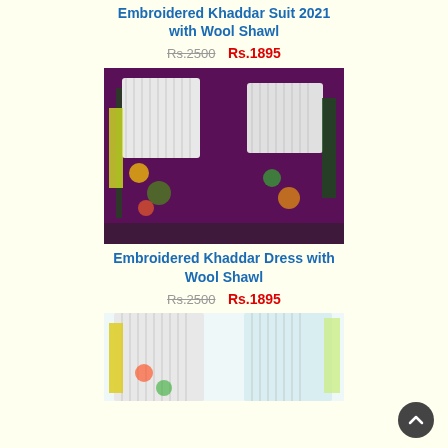Embroidered Khaddar Suit 2021 with Wool Shawl
Rs.2500  Rs.1895
[Figure (photo): Two models wearing embroidered khaddar suits with floral print on purple background with wool shawl]
Embroidered Khaddar Dress with Wool Shawl
Rs.2500  Rs.1895
[Figure (photo): Two models wearing embroidered khaddar dresses with floral print on teal/white background with wool shawl]